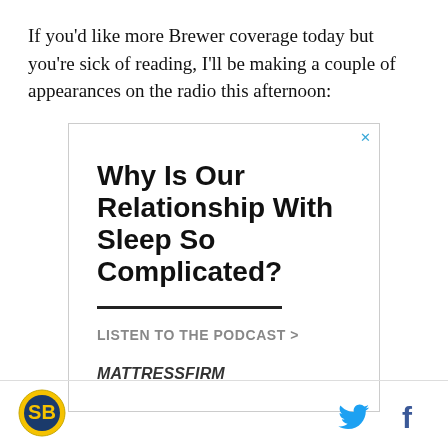If you'd like more Brewer coverage today but you're sick of reading, I'll be making a couple of appearances on the radio this afternoon:
[Figure (other): Advertisement banner for Mattress Firm podcast. Title: 'Why Is Our Relationship With Sleep So Complicated?' with a call-to-action 'LISTEN TO THE PODCAST >' and the MattressFirm logo.]
SB Nation logo icon on the left; Twitter and Facebook social icons on the right